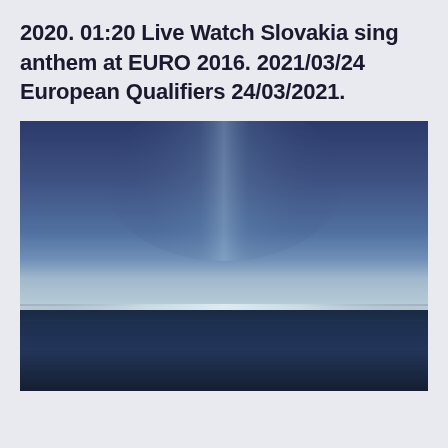2020. 01:20 Live Watch Slovakia sing anthem at EURO 2016. 2021/03/24 European Qualifiers 24/03/2021.
[Figure (photo): Minimalist long-exposure photograph of a seascape or ocean horizon with a deep blue gradient sky above and dark blurred water below, separated by a thin bright horizon line.]